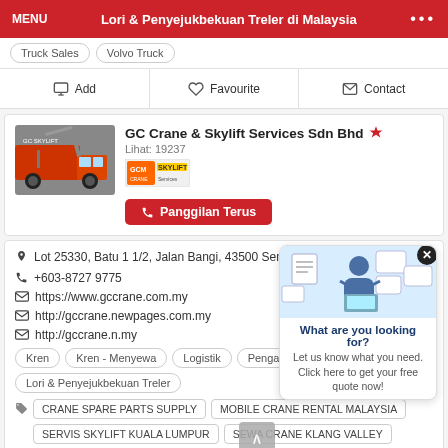MENU | Lori & Penyejukbekuan Treler di Malaysia | ...
Truck Sales  Volvo Truck
Add  Favourite  Contact
GC Crane & Skylift Services Sdn Bhd
Lihat: 19237
Panggilan Terus
Lot 25330, Batu 1 1/2, Jalan Bangi, 43500 Semenyih, Selangor, Malaysia.
+603-8727 9775
https://www.gccrane.com.my
http://gccrane.newpages.com.my
http://gccrane.n.my
Kren  Kren - Menyewa  Logistik  Pengangkutan Lori  Lori & Penyejukbekuan Treler
CRANE SPARE PARTS SUPPLY  MOBILE CRANE RENTAL MALAYSIA  SERVIS SKYLIFT KUALA LUMPUR  SEWA CRANE KLANG VALLEY
What are you looking for? Let us know what you need. Click here to get your free quote now!